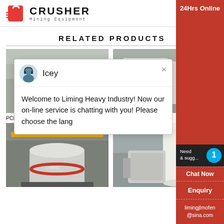CRUSHER Mining Equipment
RELATED PRODUCTS
[Figure (photo): PCL Sand Making Machine - industrial machine photo]
PCL Sand Making Machine
[Figure (photo): VSI5X Impact crusher machine photo]
VSI5X Impa...
[Figure (photo): Large mining machine with red ring component]
[Figure (photo): White cylindrical industrial machine]
[Figure (screenshot): Live chat popup: Icey - Welcome to Liming Heavy Industry! Now our online service is chatting with you! Please choose the lang]
24Hrs Online
Need & suggestions
1
Chat Now
Enquiry
limingjlmofen@sina.com